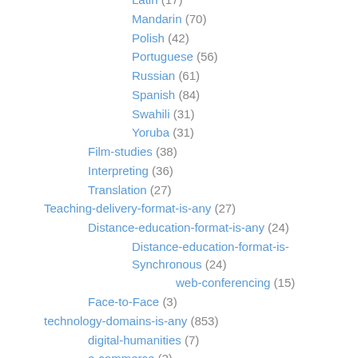Latin (17)
Mandarin (70)
Polish (42)
Portuguese (56)
Russian (61)
Spanish (84)
Swahili (31)
Yoruba (31)
Film-studies (38)
Interpreting (36)
Translation (27)
Teaching-delivery-format-is-any (27)
Distance-education-format-is-any (24)
Distance-education-format-is-Synchronous (24)
web-conferencing (15)
Face-to-Face (3)
technology-domains-is-any (853)
digital-humanities (7)
e-commerce (2)